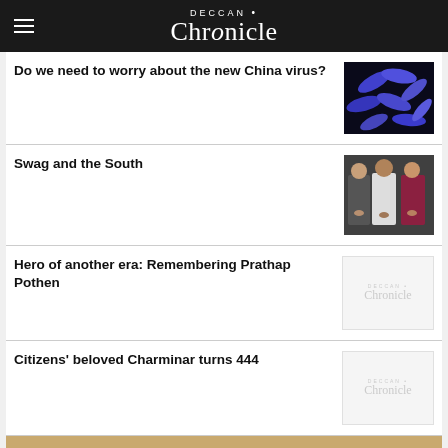Deccan Chronicle
Do we need to worry about the new China virus?
[Figure (photo): Microscopic image of purple/blue elongated bacteria or virus particles on dark background]
Swag and the South
[Figure (photo): Three men at an event, one in grey suit, one in white kurta, one in red/maroon blazer, all applauding]
Hero of another era: Remembering Prathap Pothen
[Figure (logo): Deccan Chronicle placeholder logo watermark in light grey]
Citizens' beloved Charminar turns 444
[Figure (logo): Deccan Chronicle placeholder logo watermark in light grey]
[Figure (photo): Deccan Chronicle newspaper bottom banner with vintage/sepia background and large logo text]